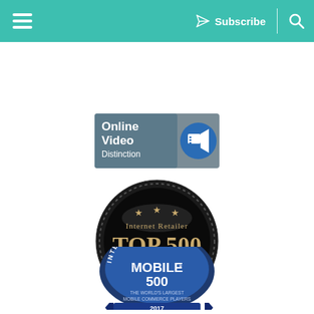Subscribe
[Figure (logo): Online Video Distinction badge/logo with teal background and video camera icon]
[Figure (logo): Internet Retailer TOP 500 2018 round black metallic badge]
[Figure (logo): Internet Retailer Mobile 500 2017 blue round badge - The World's Largest Mobile Commerce Players]